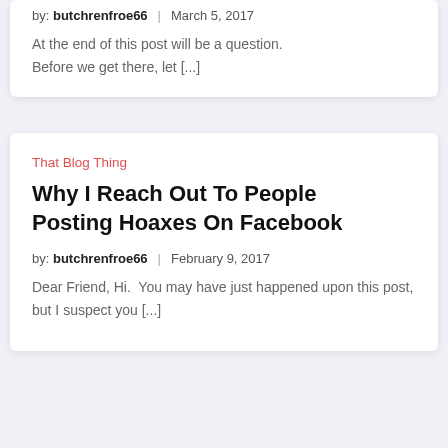by: butchrenfroe66 | March 5, 2017
At the end of this post will be a question. Before we get there, let [...]
That Blog Thing
Why I Reach Out To People Posting Hoaxes On Facebook
by: butchrenfroe66 | February 9, 2017
Dear Friend, Hi.  You may have just happened upon this post, but I suspect you [...]